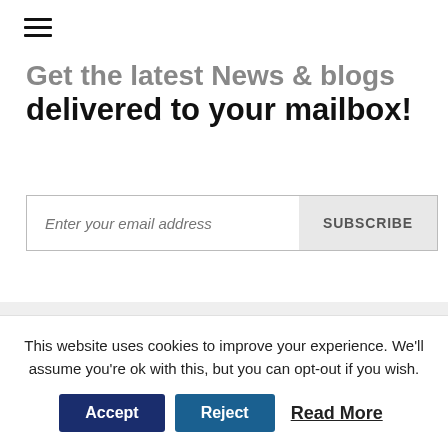[Figure (other): Hamburger menu icon (three horizontal lines)]
Get the latest News & blogs delivered to your mailbox!
Enter your email address  SUBSCRIBE
This website uses cookies to improve your experience. We'll assume you're ok with this, but you can opt-out if you wish.
Accept  Reject  Read More